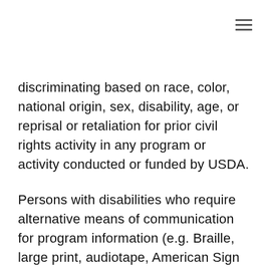discriminating based on race, color, national origin, sex, disability, age, or reprisal or retaliation for prior civil rights activity in any program or activity conducted or funded by USDA.
Persons with disabilities who require alternative means of communication for program information (e.g. Braille, large print, audiotape, American Sign Language, etc.), should contact the Agency (State or local) where they applied for benefits. Individuals